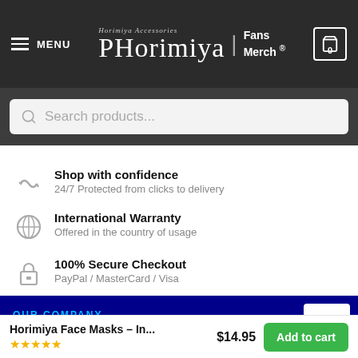MENU | Horimiya Fans Merch® | Cart: 0
Search products...
Shop with confidence
24/7 Protected from clicks to delivery
International Warranty
Offered in the country of usage
100% Secure Checkout
PayPal / MasterCard / Visa
OUR COMPANY
Horimiya Face Masks – In...
$14.95
Add to cart